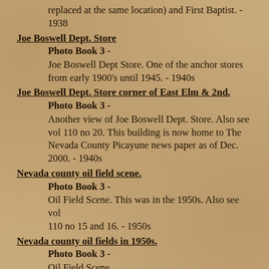replaced at the same location) and First Baptist. - 1938
Joe Boswell Dept. Store
Photo Book 3 -
Joe Boswell Dept Store. One of the anchor stores from early 1900's until 1945. - 1940s
Joe Boswell Dept. Store corner of East Elm & 2nd.
Photo Book 3 -
Another view of Joe Boswell Dept. Store. Also see vol 110 no 20. This building is now home to The Nevada County Picayune news paper as of Dec. 2000. - 1940s
Nevada county oil field scene.
Photo Book 3 -
Oil Field Scene. This was in the 1950s. Also see vol 110 no 15 and 16. - 1950s
Nevada county oil fields in 1950s.
Photo Book 3 -
Oil Field Scene...